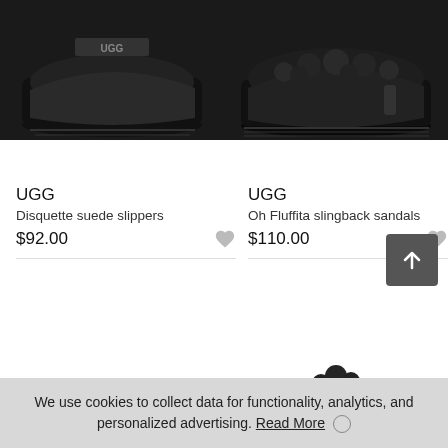[Figure (photo): UGG Disquette suede slippers in black, side view on dark background, top cropped]
[Figure (photo): UGG Oh Fluffita slingback sandals in black, side view on dark background, top cropped]
UGG
Disquette suede slippers
$92.00
UGG
Oh Fluffita slingback sandals
$110.00
[Figure (photo): Partial view of two UGG products at bottom of page, mostly white/cut off]
We use cookies to collect data for functionality, analytics, and personalized advertising. Read More